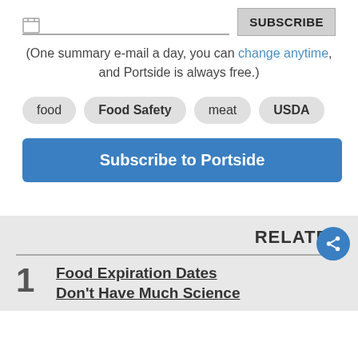(One summary e-mail a day, you can change anytime, and Portside is always free.)
food
Food Safety
meat
USDA
Subscribe to Portside
RELATED
1  Food Expiration Dates Don't Have Much Science